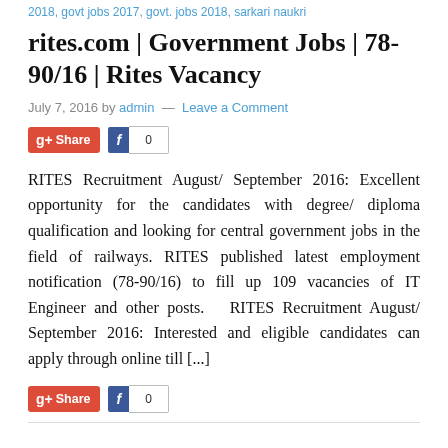2018, govt jobs 2017, govt. jobs 2018, sarkari naukri
rites.com | Government Jobs | 78-90/16 | Rites Vacancy
July 7, 2016 by admin — Leave a Comment
[Figure (other): Google+ Share button and Facebook Share button showing count 0]
RITES Recruitment August/ September 2016: Excellent opportunity for the candidates with degree/ diploma qualification and looking for central government jobs in the field of railways. RITES published latest employment notification (78-90/16) to fill up 109 vacancies of IT Engineer and other posts.   RITES Recruitment August/ September 2016: Interested and eligible candidates can apply through online till [...]
[Figure (other): Google+ Share button and Facebook Share button showing count 0]